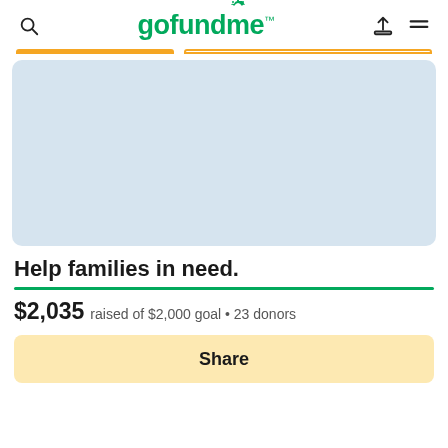gofundme
[Figure (screenshot): GoFundMe campaign image placeholder area with light blue-grey background]
Help families in need.
$2,035 raised of $2,000 goal • 23 donors
Share